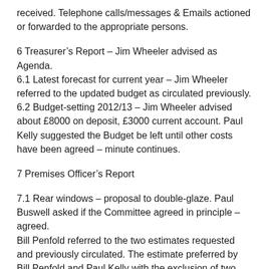received. Telephone calls/messages & Emails actioned or forwarded to the appropriate persons.
6 Treasurer’s Report – Jim Wheeler advised as Agenda. 6.1 Latest forecast for current year – Jim Wheeler referred to the updated budget as circulated previously. 6.2 Budget-setting 2012/13 – Jim Wheeler advised about £8000 on deposit, £3000 current account. Paul Kelly suggested the Budget be left until other costs have been agreed – minute continues.
7 Premises Officer’s Report
7.1 Rear windows – proposal to double-glaze. Paul Buswell asked if the Committee agreed in principle – agreed. Bill Penfold referred to the two estimates requested and previously circulated. The estimate preferred by Bill Penfold and Paul Kelly with the exclusion of two minor windows was agreed. After discussion regarding the need for further